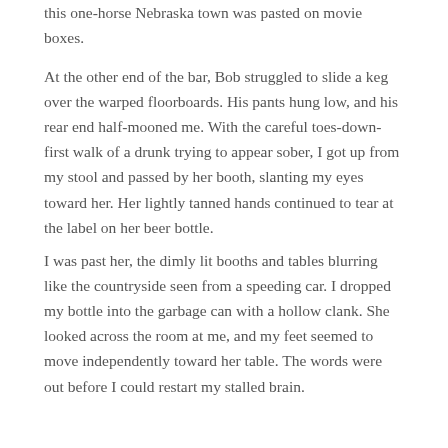this one-horse Nebraska town was pasted on movie boxes.
At the other end of the bar, Bob struggled to slide a keg over the warped floorboards. His pants hung low, and his rear end half-mooned me. With the careful toes-down-first walk of a drunk trying to appear sober, I got up from my stool and passed by her booth, slanting my eyes toward her. Her lightly tanned hands continued to tear at the label on her beer bottle.
I was past her, the dimly lit booths and tables blurring like the countryside seen from a speeding car. I dropped my bottle into the garbage can with a hollow clank. She looked across the room at me, and my feet seemed to move independently toward her table. The words were out before I could restart my stalled brain.